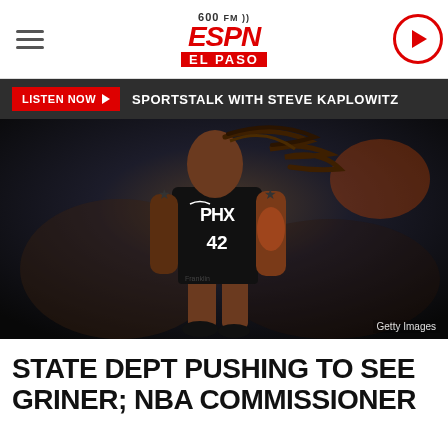600 FM ESPN EL PASO
LISTEN NOW ▶  SPORTSTALK WITH STEVE KAPLOWITZ
[Figure (photo): Basketball player in PHX jersey number 42 (Brittney Griner) running on court with dreads flying, tattoos visible, crowd in background. Getty Images credit shown.]
STATE DEPT PUSHING TO SEE GRINER; NBA COMMISSIONER